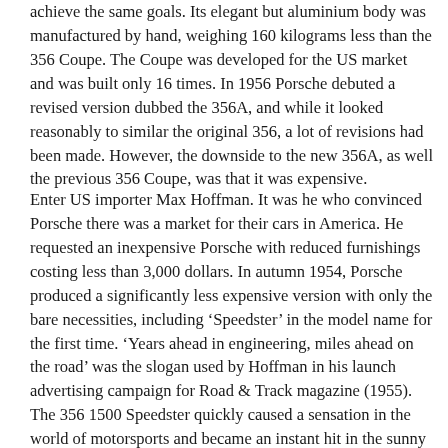achieve the same goals. Its elegant but aluminium body was manufactured by hand, weighing 160 kilograms less than the 356 Coupe. The Coupe was developed for the US market and was built only 16 times. In 1956 Porsche debuted a revised version dubbed the 356A, and while it looked reasonably to similar the original 356, a lot of revisions had been made. However, the downside to the new 356A, as well the previous 356 Coupe, was that it was expensive.
Enter US importer Max Hoffman. It was he who convinced Porsche there was a market for their cars in America. He requested an inexpensive Porsche with reduced furnishings costing less than 3,000 dollars. In autumn 1954, Porsche produced a significantly less expensive version with only the bare necessities, including ‘Speedster’ in the model name for the first time. ‘Years ahead in engineering, miles ahead on the road’ was the slogan used by Hoffman in his launch advertising campaign for Road & Track magazine (1955). The 356 1500 Speedster quickly caused a sensation in the world of motorsports and became an instant hit in the sunny coastal states of the US, where its basic configuration and lack of advanced weather equipment was more than appropriate and still is to this day. Hollywood icon James Dean also owned a Speedster, only furthering its image. Its most notable features include a low-cut